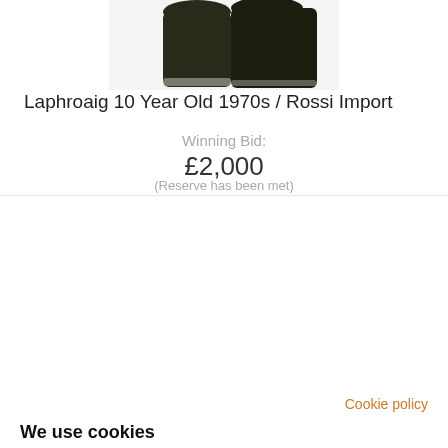[Figure (photo): Product photo of dark glass bottles (Laphroaig whisky) on white background, partially cropped at top]
Laphroaig 10 Year Old 1970s / Rossi Import
Winning Bid:
£2,000
(Reserve has been met)
Cookie policy
We use cookies
We may place these for analysis of our visitor data, to improve our website, show personalised content and to give you a great website experience. For more information about the cookies we use open the settings.
Accept all
Deny
No, adjust